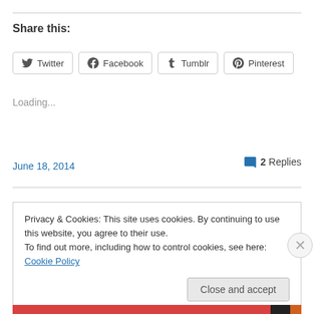Share this:
Twitter | Facebook | Tumblr | Pinterest
Loading...
June 18, 2014
2 Replies
Privacy & Cookies: This site uses cookies. By continuing to use this website, you agree to their use.
To find out more, including how to control cookies, see here: Cookie Policy
Close and accept